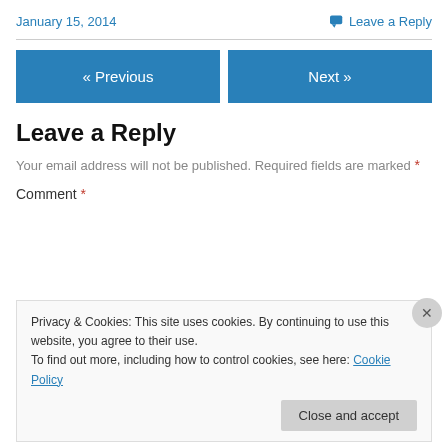January 15, 2014
Leave a Reply
« Previous
Next »
Leave a Reply
Your email address will not be published. Required fields are marked *
Comment *
Privacy & Cookies: This site uses cookies. By continuing to use this website, you agree to their use. To find out more, including how to control cookies, see here: Cookie Policy
Close and accept